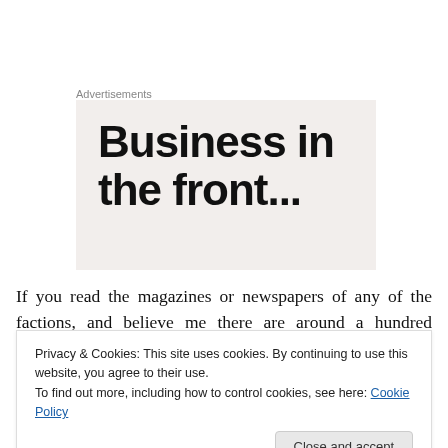Advertisements
[Figure (other): Advertisement banner with bold text reading 'Business in the front...' on a light beige background]
If you read the magazines or newspapers of any of the factions, and believe me there are around a hundred periodicals published by the Muslim community alone in
Privacy & Cookies: This site uses cookies. By continuing to use this website, you agree to their use.
To find out more, including how to control cookies, see here: Cookie Policy
and try to look at this community from outside, you would